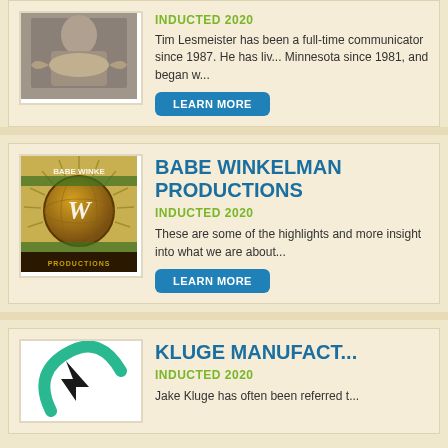[Figure (photo): Person holding a large fish, outdoor winter setting]
INDUCTED 2020
Tim Lesmeister has been a full-time communicator since 1987. He has lived in Minnesota since 1981, and began w...
LEARN MORE
[Figure (logo): Babe Winkelman Productions logo – globe with cursive text and banner]
BABE WINKELMAN PRODUCTIONS
INDUCTED 2020
These are some of the highlights and more insight into what we are about...
LEARN MORE
[Figure (logo): Kluge Manufacturing logo – teal arc/fish shape with black symbol]
KLUGE MANUFACTURING
INDUCTED 2020
Jake Kluge has often been referred t...